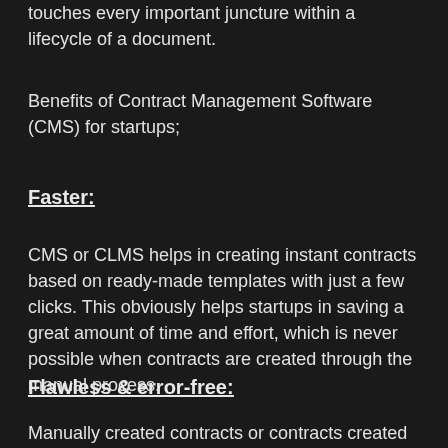touches every important juncture within a lifecycle of a document.
Benefits of Contract Management Software (CMS) for startups;
Faster:
CMS or CLMS helps in creating instant contracts based on ready-made templates with just a few clicks. This obviously helps startups in saving a great amount of time and effort, which is never possible when contracts are created through the manual process.
Flawless & error-free:
Manually created contracts or contracts created